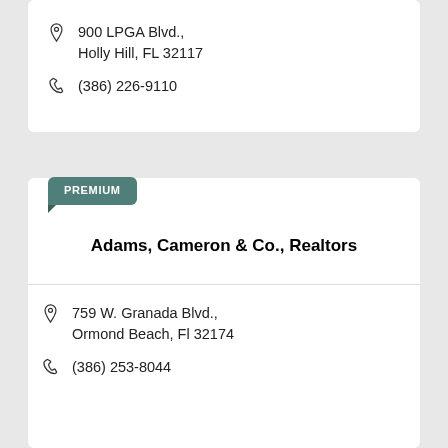900 LPGA Blvd., Holly Hill, FL 32117
(386) 226-9110
PREMIUM
Adams, Cameron & Co., Realtors
759 W. Granada Blvd., Ormond Beach, Fl 32174
(386) 253-8044